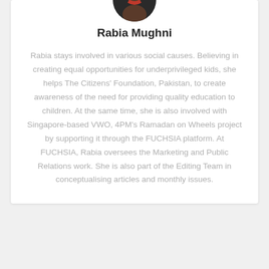[Figure (photo): Circular avatar/headshot photo of Rabia Mughni]
Rabia Mughni
Rabia stays involved in various social causes. Believing in creating equal opportunities for underprivileged kids, she helps The Citizens' Foundation, Pakistan, to create awareness of the need for providing quality education to children. At the same time, she is also involved with Singapore-based VWO, 4PM's Ramadan on Wheels project by supporting it through the FUCHSIA platform. At FUCHSIA, Rabia oversees the Marketing and Public Relations work. She is also part of the Editing Team in conceptualising articles and monthly issues.